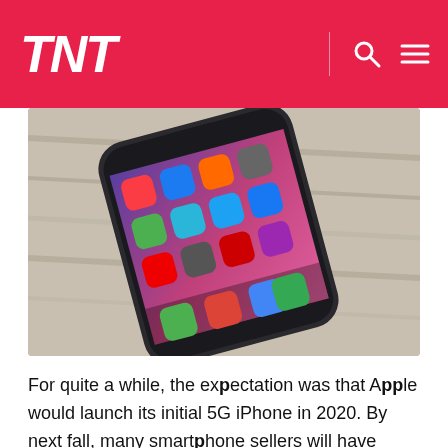TNT
[Figure (photo): A smartphone (iPhone) with colorful app icons displayed on screen, lying on a wooden surface, viewed at an angle from above.]
For quite a while, the expectation was that Apple would launch its initial 5G iPhone in 2020. By next fall, many smartphone sellers will have found a 5G handset (in reality, many have), and it is difficult to see Apple bypassing out. The sole question is whether Apple will accompany Samsung's guide and launch another 5G version, or in case all the 2020 iPhone models will be compatible with 5G